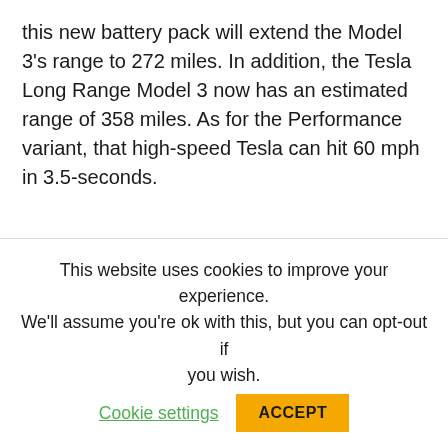this new battery pack will extend the Model 3's range to 272 miles. In addition, the Tesla Long Range Model 3 now has an estimated range of 358 miles. As for the Performance variant, that high-speed Tesla can hit 60 mph in 3.5-seconds.
ULTIMATE PLUS ™ Tesla Model 3 Paint Protection Film
This website uses cookies to improve your experience. We'll assume you're ok with this, but you can opt-out if you wish. Cookie settings ACCEPT